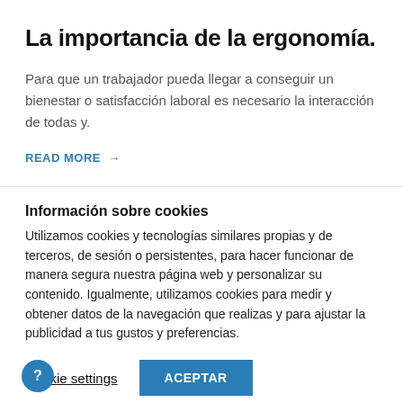La importancia de la ergonomía.
Para que un trabajador pueda llegar a conseguir un bienestar o satisfacción laboral es necesario la interacción de todas y.
READ MORE →
Información sobre cookies
Utilizamos cookies y tecnologías similares propias y de terceros, de sesión o persistentes, para hacer funcionar de manera segura nuestra página web y personalizar su contenido. Igualmente, utilizamos cookies para medir y obtener datos de la navegación que realizas y para ajustar la publicidad a tus gustos y preferencias.
Cookie settings  ACEPTAR